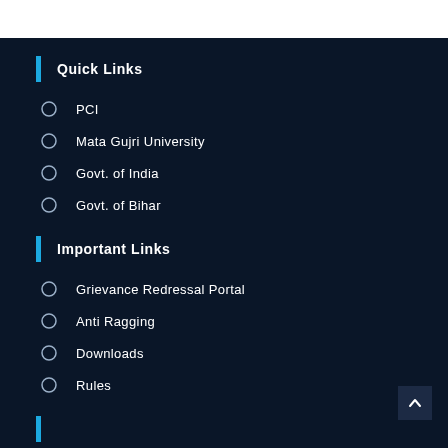Quick Links
PCI
Mata Gujri University
Govt. of India
Govt. of Bihar
Important Links
Grievance Redressal Portal
Anti Ragging
Downloads
Rules